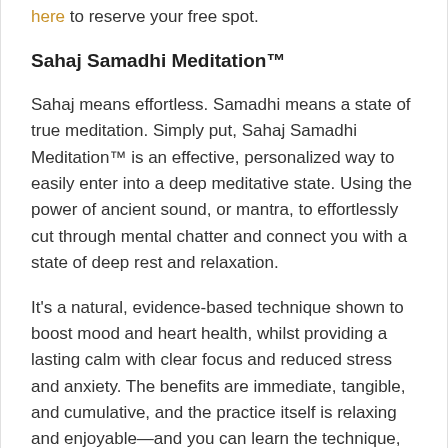here to reserve your free spot.
Sahaj Samadhi Meditation™
Sahaj means effortless. Samadhi means a state of true meditation. Simply put, Sahaj Samadhi Meditation™ is an effective, personalized way to easily enter into a deep meditative state. Using the power of ancient sound, or mantra, to effortlessly cut through mental chatter and connect you with a state of deep rest and relaxation.
It's a natural, evidence-based technique shown to boost mood and heart health, whilst providing a lasting calm with clear focus and reduced stress and anxiety. The benefits are immediate, tangible, and cumulative, and the practice itself is relaxing and enjoyable—and you can learn the technique, and